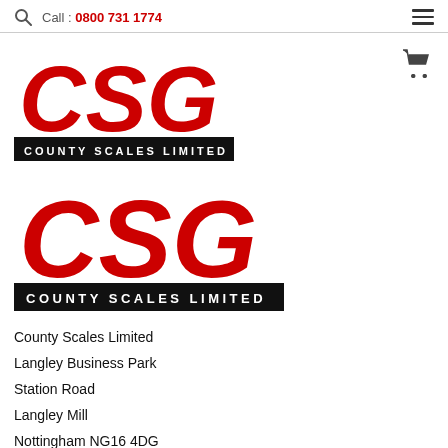Call : 0800 731 1774
[Figure (logo): CSG County Scales Limited logo (red CSG lettering with black bar showing COUNTY SCALES LIMITED) - appears twice]
County Scales Limited
Langley Business Park
Station Road
Langley Mill
Nottingham NG16 4DG
Phone: 0800 731 1774
Email: sales@csgonline.co.uk